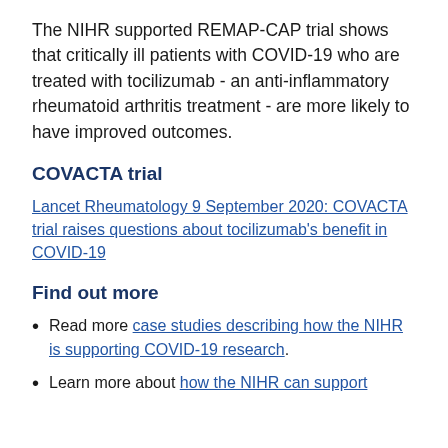The NIHR supported REMAP-CAP trial shows that critically ill patients with COVID-19 who are treated with tocilizumab - an anti-inflammatory rheumatoid arthritis treatment - are more likely to have improved outcomes.
COVACTA trial
Lancet Rheumatology 9 September 2020: COVACTA trial raises questions about tocilizumab's benefit in COVID-19
Find out more
Read more case studies describing how the NIHR is supporting COVID-19 research.
Learn more about how the NIHR can support